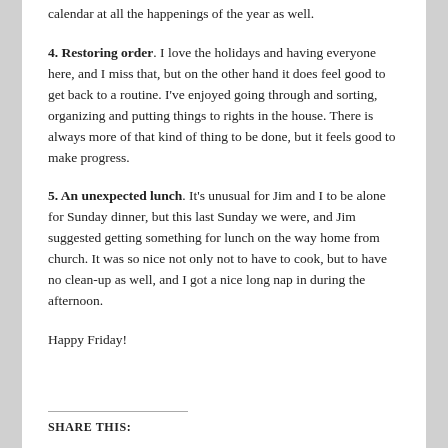calendar at all the happenings of the year as well.
4. Restoring order. I love the holidays and having everyone here, and I miss that, but on the other hand it does feel good to get back to a routine. I've enjoyed going through and sorting, organizing and putting things to rights in the house. There is always more of that kind of thing to be done, but it feels good to make progress.
5. An unexpected lunch. It's unusual for Jim and I to be alone for Sunday dinner, but this last Sunday we were, and Jim suggested getting something for lunch on the way home from church. It was so nice not only not to have to cook, but to have no clean-up as well, and I got a nice long nap in during the afternoon.
Happy Friday!
SHARE THIS: